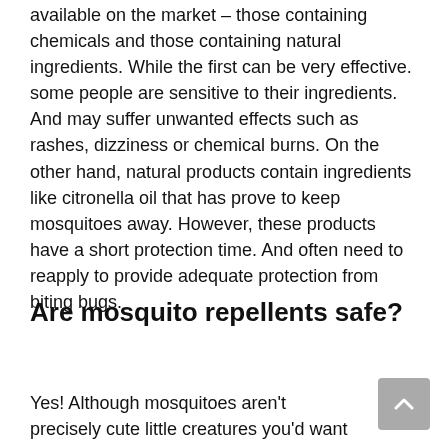available on the market – those containing chemicals and those containing natural ingredients. While the first can be very effective. some people are sensitive to their ingredients. And may suffer unwanted effects such as rashes, dizziness or chemical burns. On the other hand, natural products contain ingredients like citronella oil that has prove to keep mosquitoes away. However, these products have a short protection time. And often need to reapply to provide adequate protection from biting bugs.
Are mosquito repellents safe?
Yes! Although mosquitoes aren't precisely cute little creatures you'd want to spend